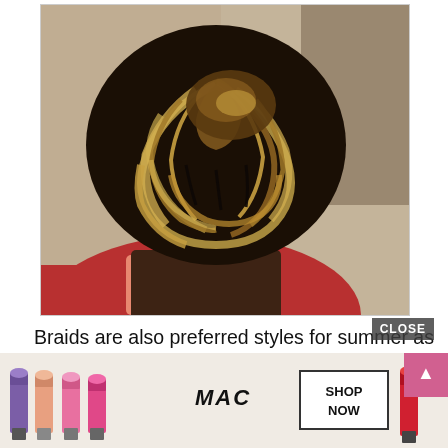[Figure (photo): Back view of a person with elaborate twisted/micro braids styled in an updo bun, showing dark and golden/blonde twisted braids. The person is wearing a red top and has a tattoo on their upper back. The background shows an indoor setting.]
Braids are also preferred styles for summer as they are more relaxed and ideal for casual settings. The micro braids hairstyle... lly... the we...
[Figure (photo): MAC cosmetics advertisement banner showing multiple lipsticks in purple, peach, and pink/red colors with MAC logo and SHOP NOW button]